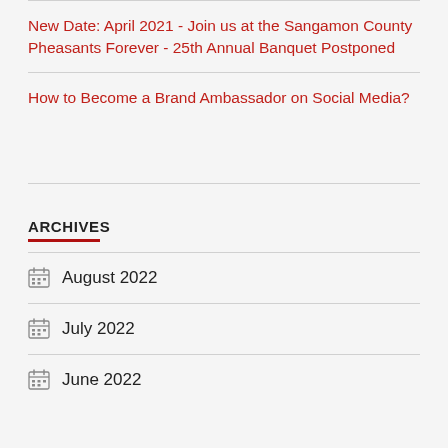New Date: April 2021 - Join us at the Sangamon County Pheasants Forever - 25th Annual Banquet Postponed
How to Become a Brand Ambassador on Social Media?
ARCHIVES
August 2022
July 2022
June 2022